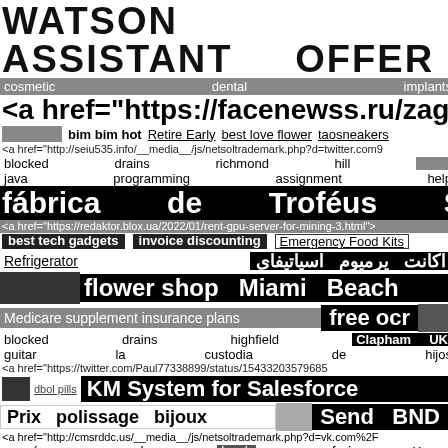WATSON    ASSISTANT    OFFER
cosmetic    dental    implants
<a href="https://facenewss.ru/zagotovk
[redacted] bim bim hot  Retire Early  best love flower  taosneakers
<a href="http://seiu535.info/__media__/js/netsoltrademark.php?d=twitter.com9
blocked    drains    richmond    hill    [redacted]
java    programming    assignment    help
fábrica    de    Troféus    Sp
<a href="https://redaktor.blox.ua/2022/01/rent-gpu-server-for-mining-3.html">
best tech gadgets   invoice discounting   Emergency Food Kits
Refrigerator   اکانت یرمیوم اسیاتیفای
[redacted] flower shop Miami Beach
Medicare supplement insurance plans   free ocr   [redacted]
blocked    drains    highfield    Clapham    UK
guitar    la    custodia    de    hijos
<a href="https://twitter.com/Paul77338899/status/15433203579685
[redacted]  dbol pills  KM System for Salesforce
Prix polissage bijoux   [redacted]   Send BND
<a href="http://cmsrddc.us/__media__/js/netsoltrademark.php?d=vk.com%2F
wywóz    szamba    book    safari    Kenya
https://Wiki.dxcluster.org/index.php/User:MapleMillard04